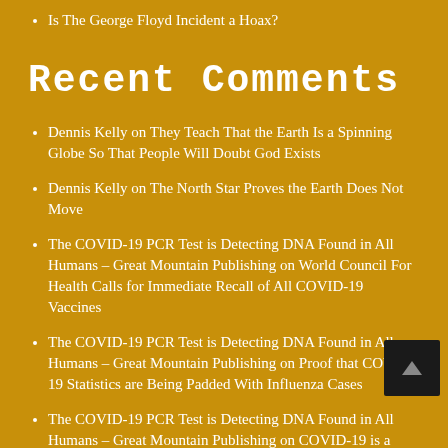Is The George Floyd Incident a Hoax?
Recent Comments
Dennis Kelly on They Teach That the Earth Is a Spinning Globe So That People Will Doubt God Exists
Dennis Kelly on The North Star Proves the Earth Does Not Move
The COVID-19 PCR Test is Detecting DNA Found in All Humans – Great Mountain Publishing on World Council For Health Calls for Immediate Recall of All COVID-19 Vaccines
The COVID-19 PCR Test is Detecting DNA Found in All Humans – Great Mountain Publishing on Proof that COVID-19 Statistics are Being Padded With Influenza Cases
The COVID-19 PCR Test is Detecting DNA Found in All Humans – Great Mountain Publishing on COVID-19 is a Smokescreen for 5G Radiation Sickness
The COVID-19 PCR Test is Detecting DNA Found in All Hu…